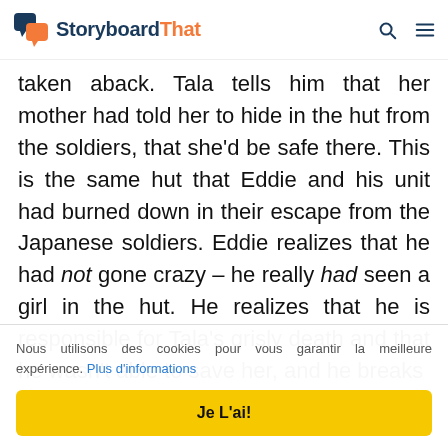StoryboardThat
taken aback. Tala tells him that her mother had told her to hide in the hut from the soldiers, that she'd be safe there. This is the same hut that Eddie and his unit had burned down in their escape from the Japanese soldiers. Eddie realizes that he had not gone crazy – he really had seen a girl in the hut. He realizes that he is responsible for Tala's grisly death and that he wasn't able to save her, and he breaks
Nous utilisons des cookies pour vous garantir la meilleure expérience. Plus d'informations
Je L'ai!
rock. Her skin is suddenly badly burned,